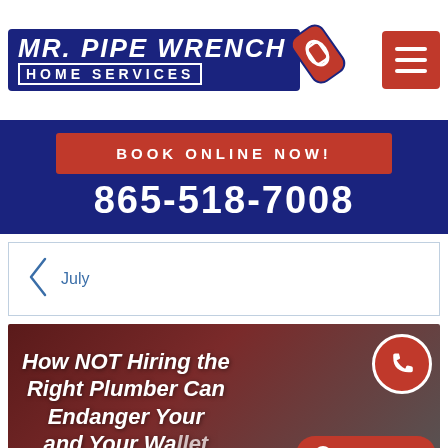[Figure (logo): Mr. Pipe Wrench Home Services logo with blue background, white bold italic text and red wrench graphic, plus a red hamburger menu button on the right]
Book Online Now!
865-518-7008
July
[Figure (photo): Article thumbnail with dark reddish-brown background showing the title 'How NOT Hiring the Right Plumber Can Endanger Your and Your Wallet' with a red phone FAB button and a Chat with Us button overlay]
How NOT Hiring the Right Plumber Can Endanger Your and Your Wallet